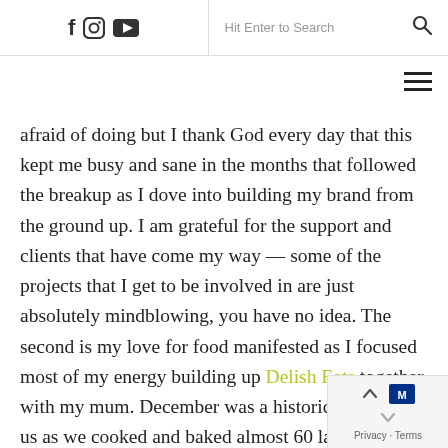f [instagram] [youtube] | Hit Enter to Search [search icon]
afraid of doing but I thank God every day that this kept me busy and sane in the months that followed the breakup as I dove into building my brand from the ground up. I am grateful for the support and clients that have come my way — some of the projects that I get to be involved in are just absolutely mindblowing, you have no idea. The second is my love for food manifested as I focused most of my energy building up Delish Eats together with my mum. December was a historic month for us as we cooked and baked almost 60 lasagnas and brownies each, bringing some Christmas love and joy into the homes of our customers and friends. These two babies will be my focus in 2021.